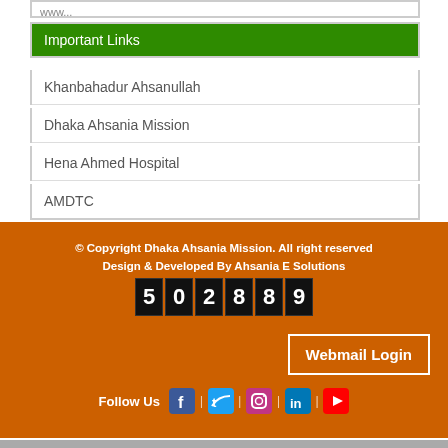Important Links
Khanbahadur Ahsanullah
Dhaka Ahsania Mission
Hena Ahmed Hospital
AMDTC
© Copyright Dhaka Ahsania Mission. All right reserved
Design & Developed By Ahsania E Solutions
[Figure (other): A website visit counter showing the number 502889 in digital display blocks]
Webmail Login
Follow Us